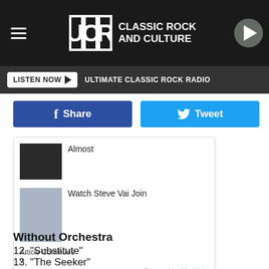UCR CLASSIC ROCK AND CULTURE
LISTEN NOW ▶  ULTIMATE CLASSIC ROCK RADIO
f  Share
Tweet
Almost
Watch Steve Vai Join
Article Continues
v
Powered by Hindsight
Without Orchestra
12. "Substitute"
13. "The Seeker"
14. "I Can See For Miles"